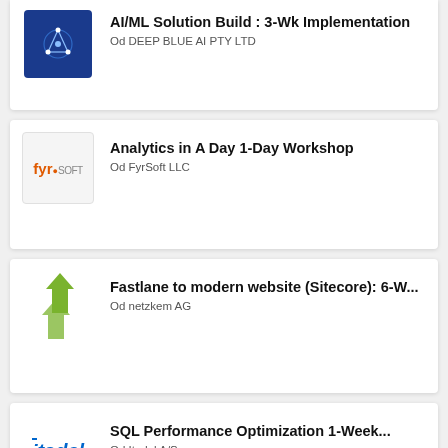AI/ML Solution Build : 3-Wk Implementation
Od DEEP BLUE AI PTY LTD
Analytics in A Day 1-Day Workshop
Od FyrSoft LLC
Fastlane to modern website (Sitecore): 6-W...
Od netzkem AG
SQL Performance Optimization 1-Week...
Od Itadel A/S
AWS to AZURE - Cloud Migration: 2-Wk Imp